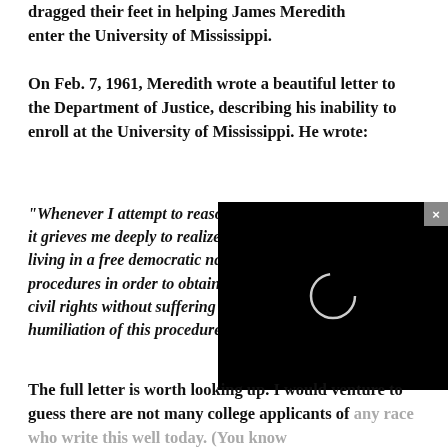dragged their feet in helping James Meredith enter the University of Mississippi.
On Feb. 7, 1961, Meredith wrote a beautiful letter to the Department of Justice, describing his inability to enroll at the University of Mississippi. He wrote:
“Whenever I attempt to reason logically about this matter, it grieves me deeply to realize that an individual, especially living in a free democratic nation, must exhaust legal procedures in order to obtain any reasonable amount of his civil rights without suffering the embarrassment and humiliation of this procedure with no hope of success.”
[Figure (screenshot): Black video player overlay with a loading circle icon and a close (x) button in the top right corner]
The full letter is worth looking up. I would venture to guess there are not many college applicants of any race who write this well today. (You know